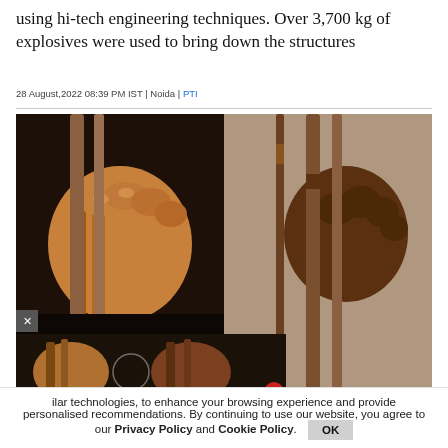using hi-tech engineering techniques. Over 3,700 kg of explosives were used to bring down the structures
28 August,2022 08:39 PM IST | Noida | PTI
[Figure (photo): Two side-by-side photos of hands gripping metal bars, with a smaller inset showing similar images. Suggests a news story about demolition or imprisonment.]
ilar technologies, to enhance your browsing experience and provide personalised recommendations. By continuing to use our website, you agree to our Privacy Policy and Cookie Policy.